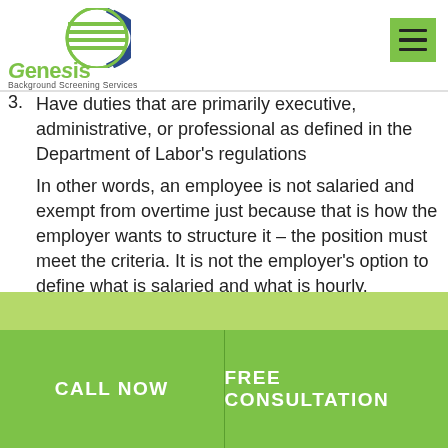[Figure (logo): Genesis Background Screening Services logo with green globe icon, green 'Genesis' text, and subtitle 'Background Screening Services']
3. Have duties that are primarily executive, administrative, or professional as defined in the Department of Labor's regulations
In other words, an employee is not salaried and exempt from overtime just because that is how the employer wants to structure it – the position must meet the criteria. It is not the employer's option to define what is salaried and what is hourly.
Non-exempt employees (salaried or hourly workers that are eligible for overtime pay) covered by the FLSA must
CALL NOW   FREE CONSULTATION